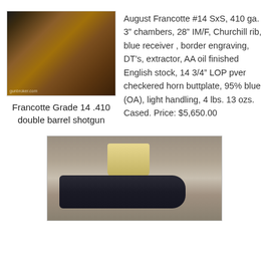[Figure (photo): Photo of a Francotte Grade 14 .410 double barrel shotgun showing the wooden stock and barrel on a light background]
Francotte Grade 14 .410 double barrel shotgun
August Francotte #14 SxS, 410 ga. 3" chambers, 28" IM/F, Churchill rib, blue receiver , border engraving, DT's, extractor, AA oil finished English stock, 14 3/4" LOP pver checkered horn buttplate, 95% blue (OA), light handling, 4 lbs. 13 ozs. Cased. Price: $5,650.00
[Figure (photo): Photo of a black gun case with yellow cloth pouch on a tan/beige background cloth]